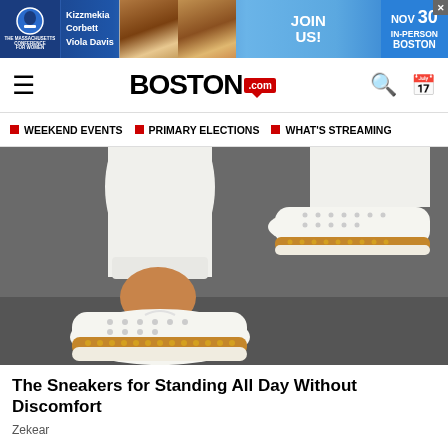[Figure (photo): Advertisement banner for The Massachusetts Conference for Women featuring Kizzmekia Corbett and Viola Davis, with text JOIN US! NOV 30 IN-PERSON BOSTON]
BOSTON.com
WEEKEND EVENTS
PRIMARY ELECTIONS
WHAT'S STREAMING
[Figure (photo): Close-up photo of a person wearing white perforated sneakers with tan/cork soles and white laces, wearing white pants, standing on a dark surface]
The Sneakers for Standing All Day Without Discomfort
Zekear